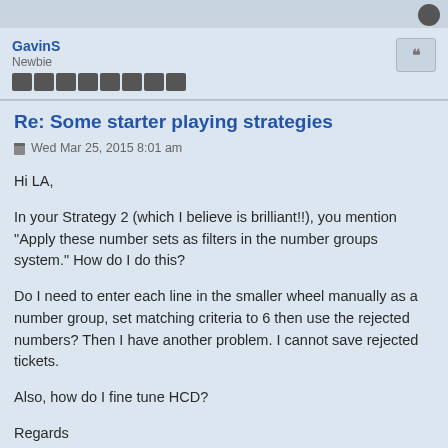GavinS
Newbie
Re: Some starter playing strategies
Wed Mar 25, 2015 8:01 am
Hi LA,

In your Strategy 2 (which I believe is brilliant!!), you mention "Apply these number sets as filters in the number groups system." How do I do this?

Do I need to enter each line in the smaller wheel manually as a number group, set matching criteria to 6 then use the rejected numbers? Then I have another problem. I cannot save rejected tickets.

Also, how do I fine tune HCD?

Regards
GavinS
jorel
Newbie